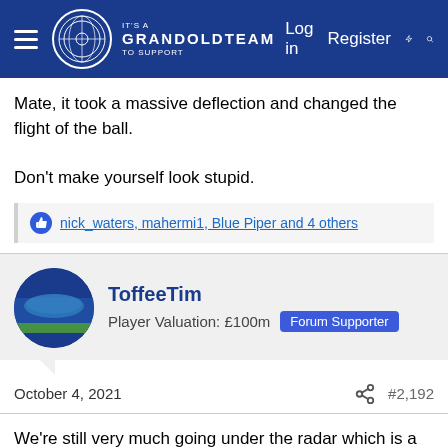GrandOldTeam forum header with Log in, Register, and search icons
Mate, it took a massive deflection and changed the flight of the ball.

Don't make yourself look stupid.
nick_waters, mahermi1, Blue Piper and 4 others
ToffeeTim
Player Valuation: £100m  Forum Supporter
October 4, 2021  #2,192
We're still very much going under the radar which is a good thing for me. I've barely heard a pundit on TV or radio say that we played pretty well. It's all about United mistakes and them being poor, and their players showing a lack of fight and whatever.

The reality is that it was an even game of football which ended in a draw. No one who saw the game could make a rational